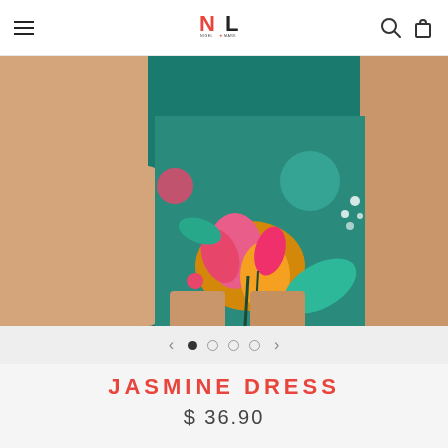NIGEL★MARK — navigation header with logo, hamburger menu, search and cart icons
[Figure (photo): Product photo of a woman wearing the Jasmine Dress — a fitted mini dress with a tropical floral print on a dark teal background, featuring pink, orange, yellow, and green botanical motifs. The image is cropped to show the torso and upper legs.]
[Figure (other): Image carousel navigation with a left arrow, four pagination dots (first dot filled/active, three empty), and a right arrow.]
JASMINE DRESS
$ 36.90